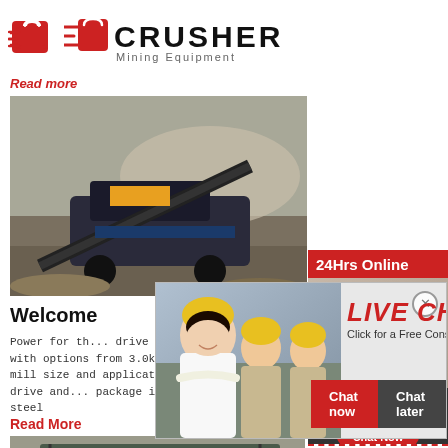[Figure (logo): Crusher Mining Equipment logo with red shopping bag icon and bold black CRUSHER text]
Read more
[Figure (photo): Large mining crusher machine at work site, dust cloud, gravel piles]
Welcome
Power for th... drive from a... motor – with options from 3.0kW to 22kW to co... mill size and application. The complete drive and... package is built onto a rigid steel
Read More
[Figure (photo): Aerial view of mining conveyor belt and excavation site]
[Figure (infographic): Live Chat popup overlay with workers in hard hats, Chat now and Chat later buttons]
[Figure (photo): 24Hrs Online sidebar with headset customer service agent photo]
Need questions & suggestion?
Chat Now
Enquiry
limingjlmofen@sina.com